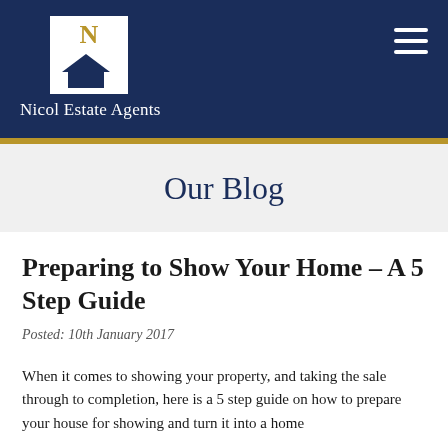[Figure (logo): Nicol Estate Agents logo: white square with gold 'N' letter above a dark navy house silhouette, with brand name below in white text on dark navy header background]
Nicol Estate Agents
Our Blog
Preparing to Show Your Home – A 5 Step Guide
Posted: 10th January 2017
When it comes to showing your property, and taking the sale through to completion, here is a 5 step guide on how to prepare your house for showing and turn it into a home